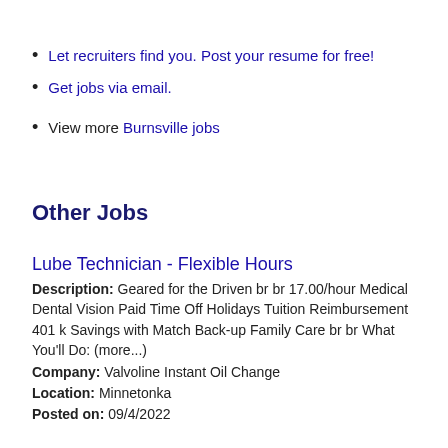Let recruiters find you. Post your resume for free!
Get jobs via email.
View more Burnsville jobs
Other Jobs
Lube Technician - Flexible Hours
Description: Geared for the Driven br br 17.00/hour Medical Dental Vision Paid Time Off Holidays Tuition Reimbursement 401 k Savings with Match Back-up Family Care br br What You'll Do: (more...)
Company: Valvoline Instant Oil Change
Location: Minnetonka
Posted on: 09/4/2022